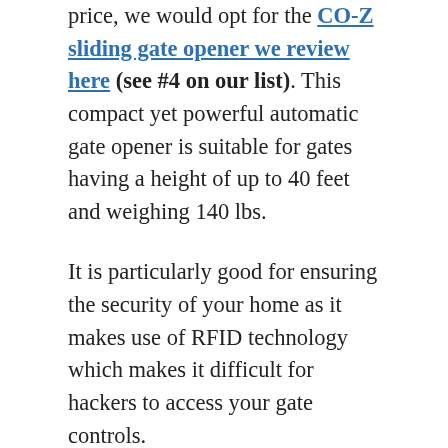price, we would opt for the CO-Z sliding gate opener we review here (see #4 on our list). This compact yet powerful automatic gate opener is suitable for gates having a height of up to 40 feet and weighing 140 lbs.

It is particularly good for ensuring the security of your home as it makes use of RFID technology which makes it difficult for hackers to access your gate controls.

The gate opener comes with two remote controls that can be operated at a distance of up to 100 feet. It is also pretty efficient in how it operates and if you are in a rush, you can make use of its pedestrian setting. This setting allows the door to close much faster.